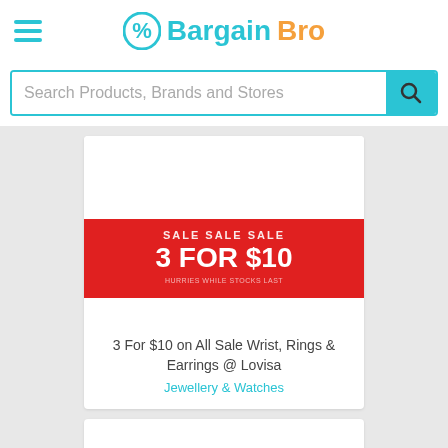Bargain Bro
Search Products, Brands and Stores
[Figure (screenshot): Product listing card showing a red sale banner with text 'SALE SALE SALE / 3 FOR $10' on a white background]
3 For $10 on All Sale Wrist, Rings & Earrings @ Lovisa
Jewellery & Watches